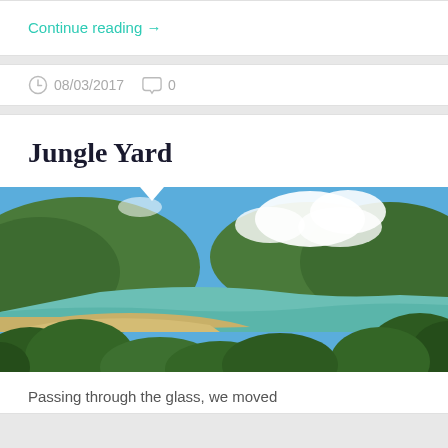Continue reading →
08/03/2017   0
Jungle Yard
[Figure (photo): Panoramic landscape photo showing a tropical bay with green jungle-covered hills, a sandy beach, turquoise sea, blue sky with white clouds, and lush trees in the foreground.]
Passing through the glass, we moved